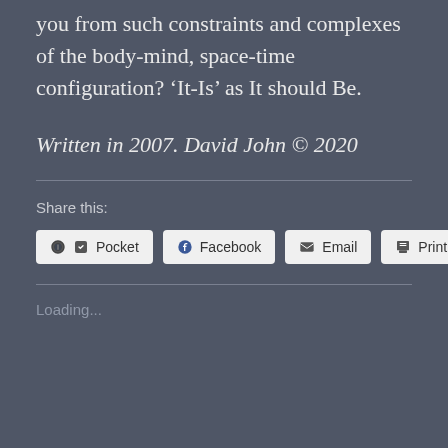you from such constraints and complexes of the body-mind, space-time configuration? 'It-Is' as It should Be.
Written in 2007. David John © 2020
Share this:
Pocket  Facebook  Email  Print  More
Loading...